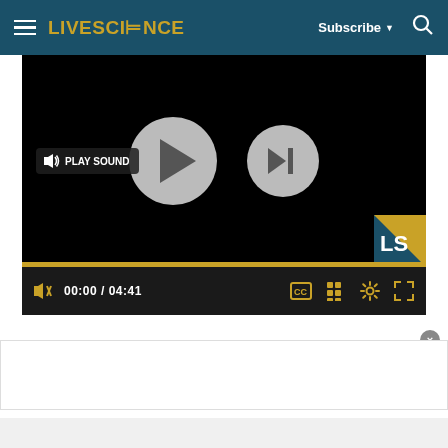LIVESCIENCE | Subscribe | Search
[Figure (screenshot): Video player showing a paused video with play and skip-to-next buttons on a black background. A 'PLAY SOUND' badge is visible on the left. The progress bar is shown at the bottom of the video area. Controls bar shows mute icon, time 00:00 / 04:41, and icons for CC, grid, settings, and fullscreen. A LiveScience (LS) logo watermark is in the bottom right of the video frame.]
[Figure (other): Advertisement area below the video player, mostly white with a close button (x) and a partial ad box at the bottom.]